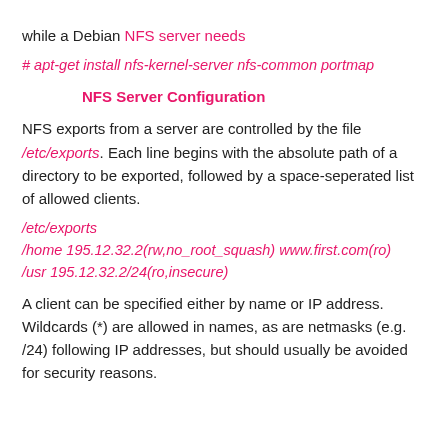while a Debian NFS server needs
# apt-get install nfs-kernel-server nfs-common portmap
NFS Server Configuration
NFS exports from a server are controlled by the file /etc/exports. Each line begins with the absolute path of a directory to be exported, followed by a space-seperated list of allowed clients.
/etc/exports
/home 195.12.32.2(rw,no_root_squash) www.first.com(ro)
/usr 195.12.32.2/24(ro,insecure)
A client can be specified either by name or IP address. Wildcards (*) are allowed in names, as are netmasks (e.g. /24) following IP addresses, but should usually be avoided for security reasons.